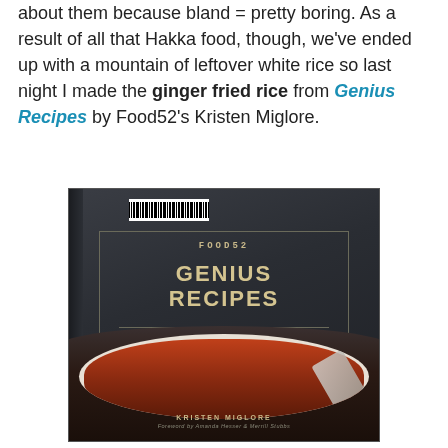about them because bland = pretty boring. As a result of all that Hakka food, though, we've ended up with a mountain of leftover white rice so last night I made the ginger fried rice from Genius Recipes by Food52's Kristen Miglore.
[Figure (photo): A photograph of the book 'Genius Recipes' by Kristen Miglore, published by Food52. The cover shows a dark slate-blue background with gold lettering for the title 'GENIUS RECIPES' and a white bowl of pasta with red sauce and a fork in the lower portion.]